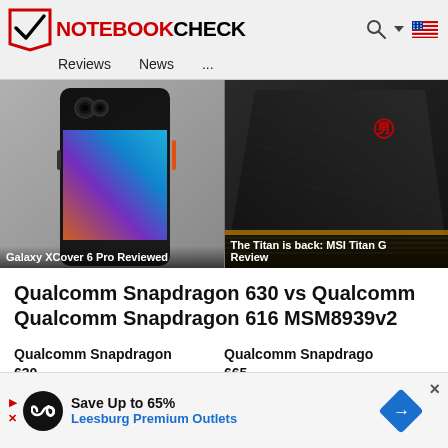NOTEBOOKCHECK — Reviews  News  ...
[Figure (screenshot): Two product images side by side: left shows Galaxy XCover 6 Pro smartphone with colorful back panel, right shows MSI Titan GT gaming laptop in dark/black color with red logo]
Galaxy XCover 6 Pro Reviewed
The Titan is back: MSI Titan G Review
Qualcomm Snapdragon 630 vs Qualcomm Qualcomm Snapdragon 616 MSM8939v2
Qualcomm Snapdragon 630
Qualcomm Snapdragon 665
Save Up to 65% Leesburg Premium Outlets